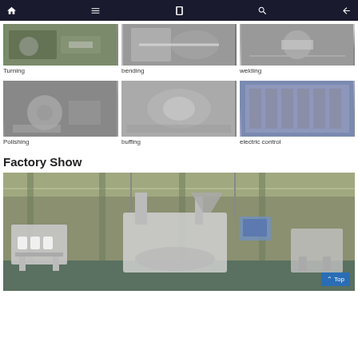Navigation bar with home, menu, book, search, and back icons
[Figure (photo): Turning process photo - lathe machine operation]
Turning
[Figure (photo): Bending process photo - metal bending operation]
bending
[Figure (photo): Welding process photo - welding operation]
welding
[Figure (photo): Polishing process photo - grinding/polishing operation]
Polishing
[Figure (photo): Buffing process photo - buffing metal parts]
buffing
[Figure (photo): Electric control process photo - control panel assembly]
electric control
Factory Show
[Figure (photo): Factory floor showing stainless steel filling/packaging machinery with multiple workstations and industrial equipment]